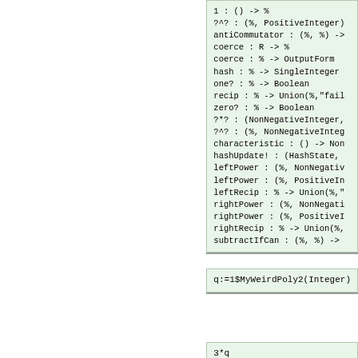1 : () -> %
?^? : (%, PositiveInteger)
antiCommutator : (%, %) ->
coerce : R -> %
coerce : % -> OutputForm
hash : % -> SingleInteger
one? : % -> Boolean
recip : % -> Union(%,"fail
zero? : % -> Boolean
?*? : (NonNegativeInteger,
?^? : (%, NonNegativeInteg
characteristic : () -> Non
hashUpdate! : (HashState,
leftPower : (%, NonNegativ
leftPower : (%, PositiveIn
leftRecip : % -> Union(%,"
rightPower : (%, NonNegati
rightPower : (%, PositiveI
rightRecip : % -> Union(%,
subtractIfCan : (%, %) ->
q:=1$MyWeirdPoly2(Integer)
3*q